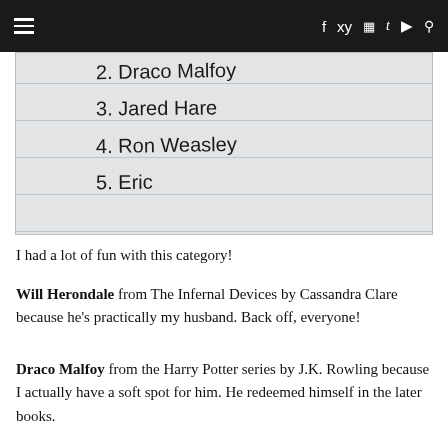Navigation bar with menu icon, social icons (f, twitter, instagram, tumblr, youtube) and search
[Figure (photo): Handwritten list on lined paper showing: 2. Draco Malfoy, 3. Jared Hare, 4. Ron Weasley, 5. Eric]
I had a lot of fun with this category!
Will Herondale from The Infernal Devices by Cassandra Clare because he’s practically my husband. Back off, everyone!
Draco Malfoy from the Harry Potter series by J.K. Rowling because I actually have a soft spot for him. He redeemed himself in the later books.